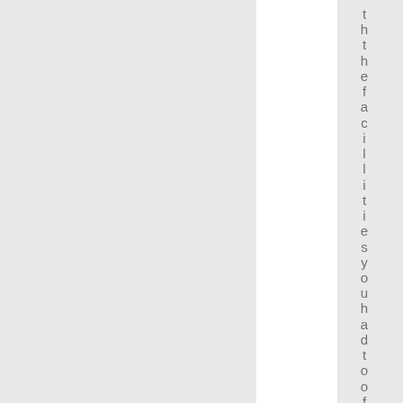t h t h e f a c i l l i t i e s y o u h a d t o o f